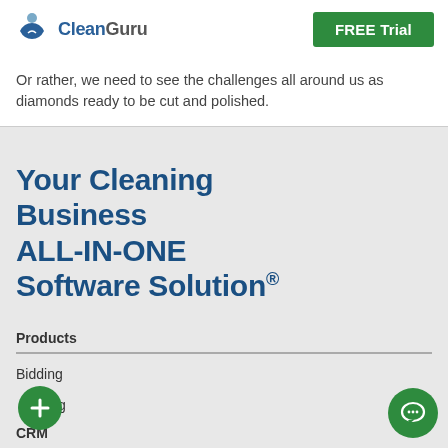CleanGuru | FREE Trial
Or rather, we need to see the challenges all around us as diamonds ready to be cut and polished.
Your Cleaning Business ALL-IN-ONE Software Solution®
Products
Bidding
Marketing
CRM